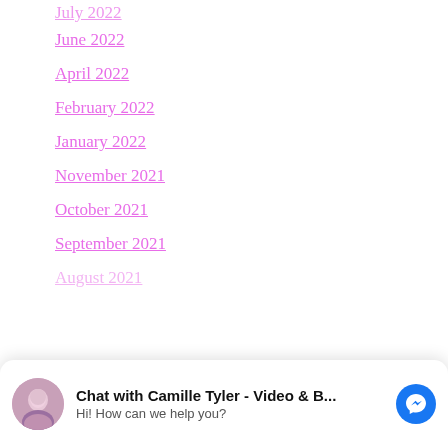June 2022
April 2022
February 2022
January 2022
November 2021
October 2021
September 2021
August 2021
[Figure (screenshot): Facebook Messenger chat widget at bottom of page: avatar photo of Camille Tyler, text 'Chat with Camille Tyler - Video & B...' and 'Hi! How can we help you?', blue Messenger icon button on right.]